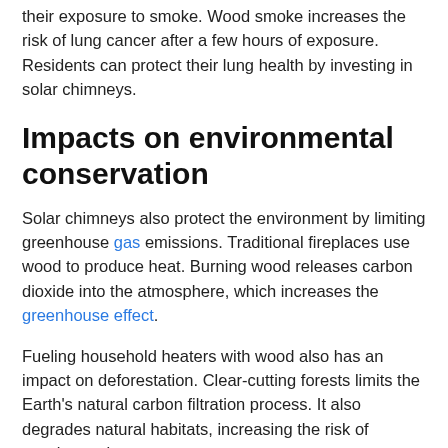their exposure to smoke. Wood smoke increases the risk of lung cancer after a few hours of exposure. Residents can protect their lung health by investing in solar chimneys.
Impacts on environmental conservation
Solar chimneys also protect the environment by limiting greenhouse gas emissions. Traditional fireplaces use wood to produce heat. Burning wood releases carbon dioxide into the atmosphere, which increases the greenhouse effect.
Fueling household heaters with wood also has an impact on deforestation. Clear-cutting forests limits the Earth's natural carbon filtration process. It also degrades natural habitats, increasing the risk of species endangerment.
Other fireplaces use gas to produce heat. Gas fireplaces cause